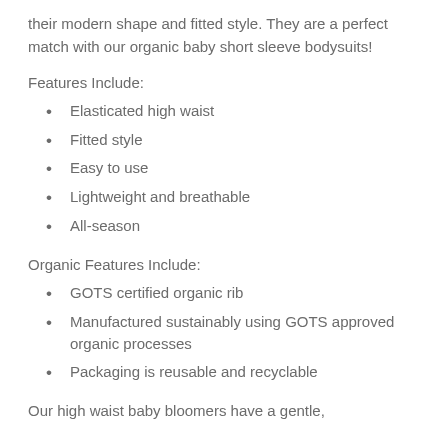their modern shape and fitted style. They are a perfect match with our organic baby short sleeve bodysuits!
Features Include:
Elasticated high waist
Fitted style
Easy to use
Lightweight and breathable
All-season
Organic Features Include:
GOTS certified organic rib
Manufactured sustainably using GOTS approved organic processes
Packaging is reusable and recyclable
Our high waist baby bloomers have a gentle,